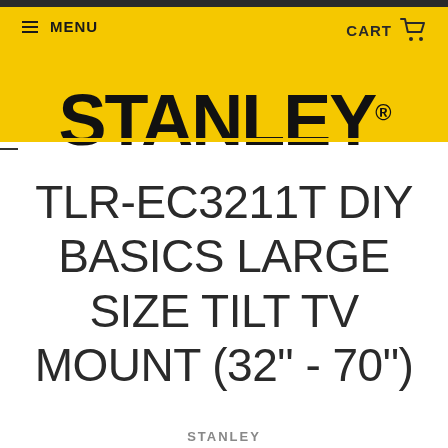≡ MENU    CART 🛒
[Figure (logo): Stanley brand logo in bold black text on yellow background with registered trademark symbol]
TLR-EC3211T DIY BASICS LARGE SIZE TILT TV MOUNT (32" - 70")
STANLEY